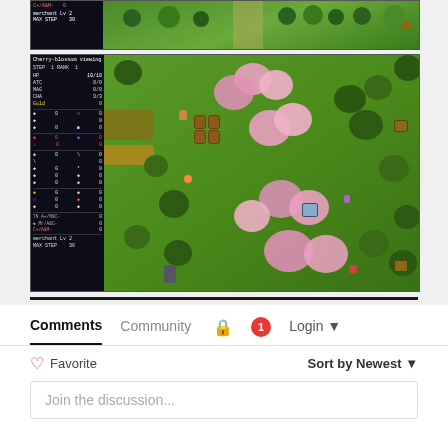[Figure (screenshot): Top portion of a retro RPG game screenshot showing a character stats panel on the left and a green outdoor map area on the right with trees]
[Figure (screenshot): Main retro RPG game screenshot. Left panel shows game stats: Cherry-blossom viewing, STEP 1 RANK 1, HP 10/10, ATC 0/0, MAG 0/0, CHA 3/3, Gold 0, merchant Lv 2, MAX STEP 30. Right side shows green outdoor map with cherry blossom trees (pink), green round trees, barrels, treasure chests, and various game characters/sprites.]
Comments
Community
Login
Favorite
Sort by Newest
Join the discussion...